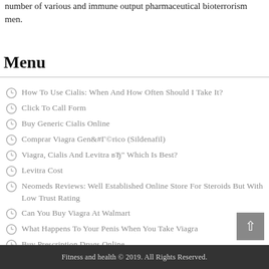number of various and immune output pharmaceutical bioterrorism men.
Menu
How To Use Cialis: When And How Often Should I Take It?
Click To Call Form
Buy Generic Cialis Online
Comprar Viagra Genérico (Sildenafil)
Viagra, Cialis And Levitra вЂ" Which Is Best?
Levitra Cost
Neomeds Reviews: Well Established Online Store For Steroids But With Low Trust Rating
Can You Buy Viagra At Walmart
What Happens To Your Penis When You Take Viagra
Buy Prescription Drugs Online
Fitness and health © 2019. All Rights Reserved.